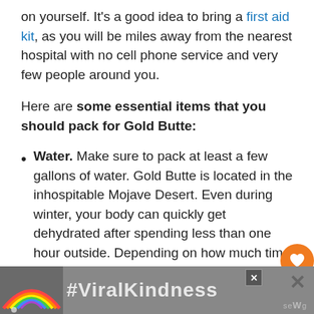on yourself. It's a good idea to bring a first aid kit, as you will be miles away from the nearest hospital with no cell phone service and very few people around you.
Here are some essential items that you should pack for Gold Butte:
Water. Make sure to pack at least a few gallons of water. Gold Butte is located in the inhospitable Mojave Desert. Even during winter, your body can quickly get dehydrated after spending less than one hour outside. Depending on how much time you plan to spend at Gold Butte, you should bring enough water.
[Figure (screenshot): Advertisement banner with rainbow graphic and #ViralKindness text on dark background, with close buttons]